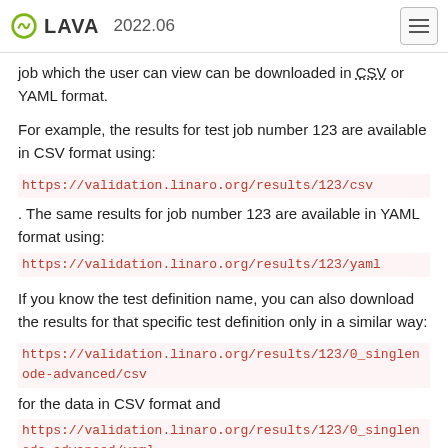LAVA 2022.06
job which the user can view can be downloaded in CSV or YAML format.
For example, the results for test job number 123 are available in CSV format using:
https://validation.linaro.org/results/123/csv. The same results for job number 123 are available in YAML format using:
https://validation.linaro.org/results/123/yaml
If you know the test definition name, you can also download the results for that specific test definition only in a similar way:
https://validation.linaro.org/results/123/0_singlenode-advanced/csv for the data in CSV format and https://validation.linaro.org/results/123/0_singlenode-advanced/yaml for the YAML format.
See also
REST API
Web Based Job Submission